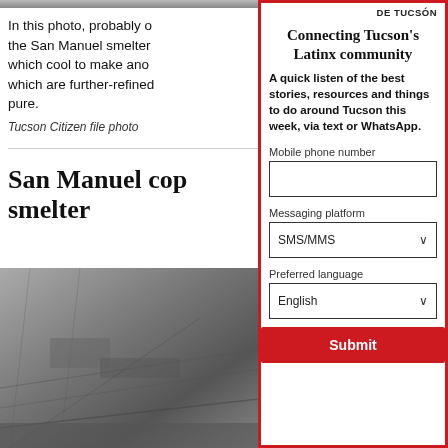[Figure (photo): Partial black and white photo at top of left column, cropped]
In this photo, probably of the San Manuel smelter which cool to make ano which are further-refined pure.
Tucson Citizen file photo
San Manuel cop smelter
[Figure (photo): Aerial black and white photograph of the San Manuel smelter site]
DE TUCSON
Connecting Tucson's Latinx community
A quick listen of the best stories, resources and things to do around Tucson this week, via text or WhatsApp.
Mobile phone number
Messaging platform
SMS/MMS
Preferred language
English
Submit